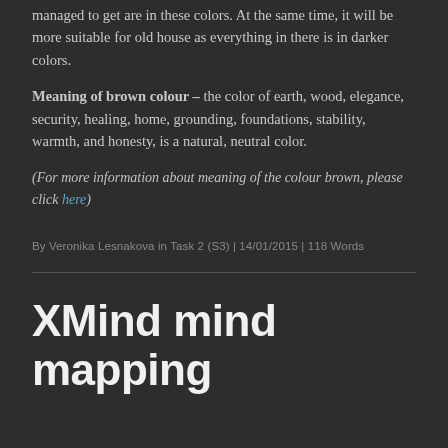managed to get are in these colors. At the same time, it will be more suitable for old house as everything in there is in darker colors.
Meaning of brown colour – the color of earth, wood, elegance, security, healing, home, grounding, foundations, stability, warmth, and honesty, is a natural, neutral color.
(For more information about meaning of the colour brown, please click here)
By Veronika Lesnakova in Task 2 (S3) | 14/01/2015 | 118 Words
XMind mind mapping